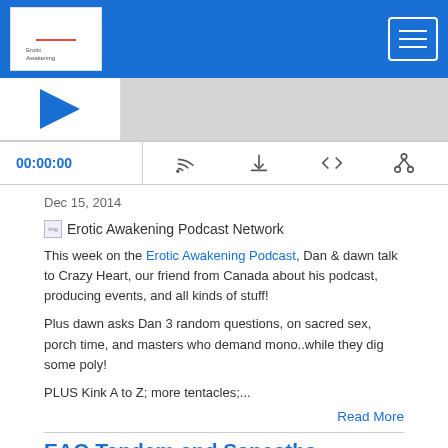Erotic Awakening Podcast Network
[Figure (screenshot): Podcast audio player with thumbnail, progress bar, timestamp 00:00:00, and control icons (cast, download, embed, share)]
Dec 15, 2014
[Figure (logo): Erotic Awakening Podcast Network logo image]
This week on the Erotic Awakening Podcast, Dan & dawn talk to Crazy Heart, our friend from Canada about his podcast, producing events, and all kinds of stuff!
Plus dawn asks Dan 3 random questions, on sacred sex, porch time, and masters who demand mono..while they dig some poly!
PLUS Kink A to Z; more tentacles;...
Read More
EAO Tandm and Sanatols